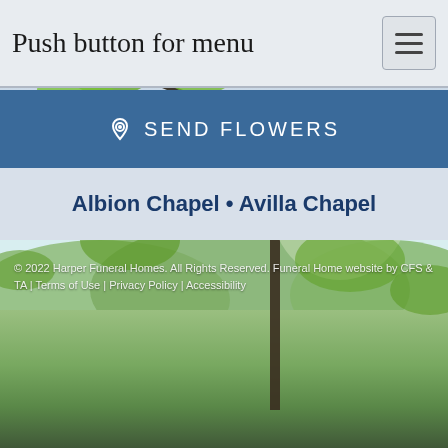Push button for menu
SEND FLOWERS
Albion Chapel • Avilla Chapel
[Figure (photo): Outdoor nature photo showing green tree branches with leaves in foreground against a bright sky, with lush green forest and hills visible in the background.]
© 2022 Harper Funeral Homes. All Rights Reserved. Funeral Home website by CFS & TA | Terms of Use | Privacy Policy | Accessibility